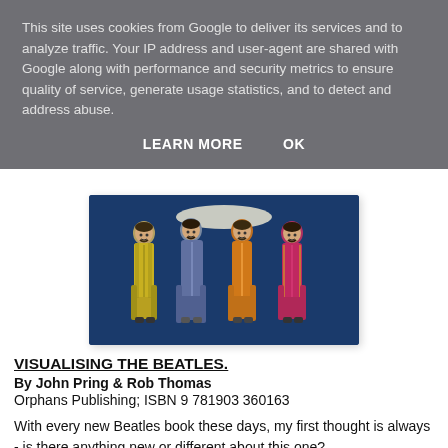This site uses cookies from Google to deliver its services and to analyze traffic. Your IP address and user-agent are shared with Google along with performance and security metrics to ensure quality of service, generate usage statistics, and to detect and address abuse.
LEARN MORE   OK
[Figure (illustration): Four figures in colorful military-style Sgt. Pepper uniforms (yellow-green, blue, orange, magenta/red) standing against a dark blue background — the Beatles Sgt. Pepper illustration.]
VISUALISING THE BEATLES.
By John Pring & Rob Thomas
Orphans Publishing; ISBN 9 781903 360163
With every new Beatles book these days, my first thought is always - is there anything new or different about this one?
Well I assume the answer to that is joining The Beatles into the